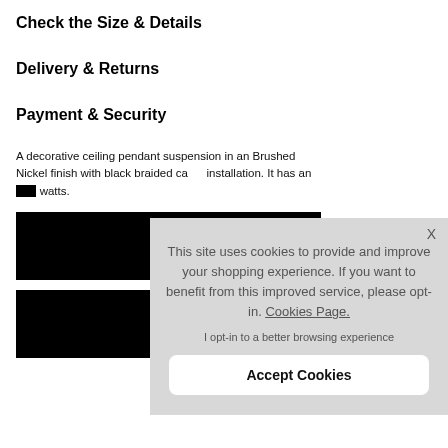Check the Size & Details
Delivery & Returns
Payment & Security
A decorative ceiling pendant suspension in an Brushed Nickel finish with black braided ca[ble for easy installation. It has an [E27 fitting] and takes up to [60] watts.
[Figure (other): Black redacted rectangle block 1]
[Figure (other): Black redacted rectangle block 2]
This site uses cookies to provide and improve your shopping experience. If you want to benefit from this improved service, please opt-in. Cookies Page.
I opt-in to a better browsing experience
Accept Cookies